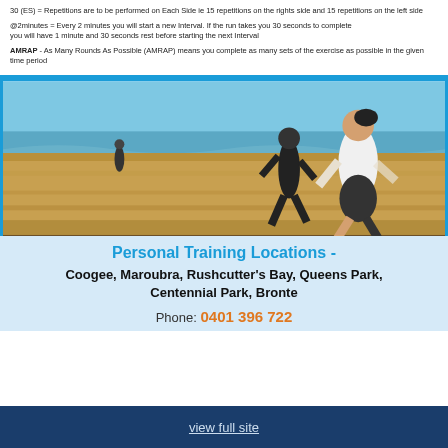30 (ES) = Repetitions are to be performed on Each Side ie 15 repetitions on the rights side and 15 repetitions on the left side
@2minutes = Every 2 minutes you will start a new Interval. If the run takes you 30 seconds to complete you will have 1 minute and 30 seconds rest before starting the next Interval
AMRAP - As Many Rounds As Possible (AMRAP) means you complete as many sets of the exercise as possible in the given time period
[Figure (photo): Beach running photo showing three people jogging on a sandy beach with ocean waves in the background]
Personal Training Locations -
Coogee, Maroubra, Rushcutter's Bay, Queens Park, Centennial Park, Bronte
Phone: 0401 396 722
view full site